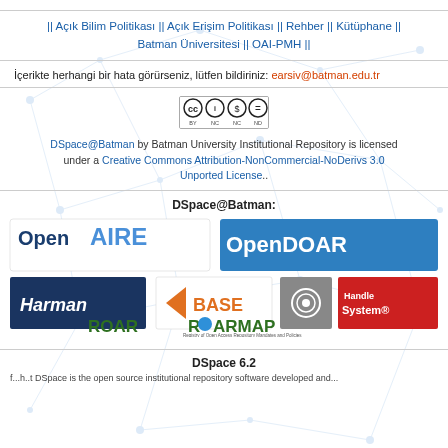|| Açık Bilim Politikası || Açık Erişim Politikası || Rehber || Kütüphane || Batman Üniversitesi || OAI-PMH ||
İçerikte herhangi bir hata görürseniz, lütfen bildiriniz: earsiv@batman.edu.tr
[Figure (logo): Creative Commons Attribution-NonCommercial-NoDerivs 3.0 Unported License badge (CC BY NC ND)]
DSpace@Batman by Batman University Institutional Repository is licensed under a Creative Commons Attribution-NonCommercial-NoDerivs 3.0 Unported License..
DSpace@Batman:
[Figure (logo): Logos of OpenAIRE, OpenDOAR, Harman, BASE, camera/document icon, Handle System, ROAR, ROARMAP]
DSpace 6.2
f...h..t DSpace is the open source institutional repository software developed and...